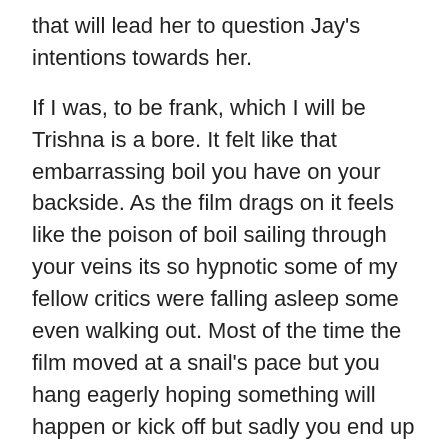that will lead her to question Jay's intentions towards her.
If I was, to be frank, which I will be Trishna is a bore. It felt like that embarrassing boil you have on your backside. As the film drags on it feels like the poison of boil sailing through your veins its so hypnotic some of my fellow critics were falling asleep some even walking out. Most of the time the film moved at a snail’s pace but you hang eagerly hoping something will happen or kick off but sadly you end up disappointed, anything that resembles something happening don’t blink as you’ll miss it.
It does seem Winterbottom has taken an improvised approach to the script giving the whole film an in-disciplined feel which too formal for a story that's very formal in nature. Everything starts fine a story of young love but as the film progresses you start to loose grip of